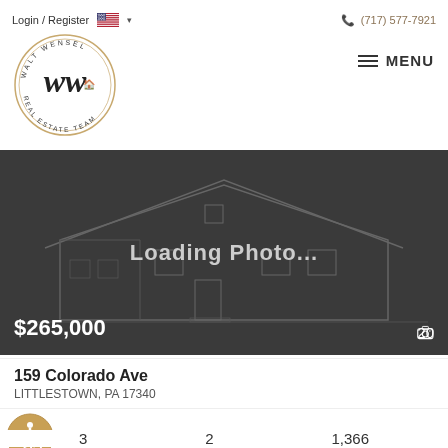Login / Register  (717) 577-7921
[Figure (logo): Walt Wensel Real Estate Team circular logo with stylized 'ww' script lettering]
MENU
[Figure (photo): Loading Photo... placeholder image showing outline of a house on dark gray background, price $265,000, photo count 20]
159 Colorado Ave
LITTLESTOWN, PA 17340
Available
3  2  1,366